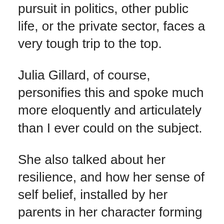pursuit in politics, other public life, or the private sector, faces a very tough trip to the top.
Julia Gillard, of course, personifies this and spoke much more eloquently and articulately than I ever could on the subject.
She also talked about her resilience, and how her sense of self belief, installed by her parents in her character forming years, helped her deal with her many political challenges.
Julia then chatted more of her time in politics, her wider career, her work on gender